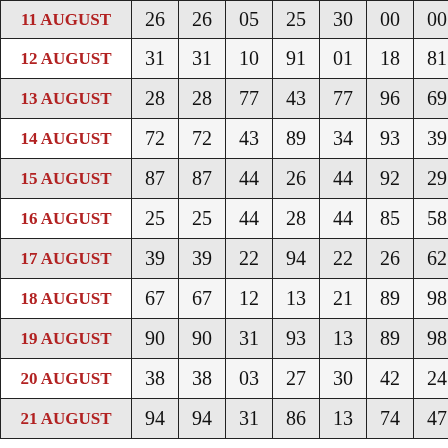| DATE | C1 | C2 | C3 | C4 | C5 | C6 | C7 |
| --- | --- | --- | --- | --- | --- | --- | --- |
| 11 AUGUST | 26 | 26 | 05 | 25 | 30 | 00 | 00 |
| 12 AUGUST | 31 | 31 | 10 | 91 | 01 | 18 | 81 |
| 13 AUGUST | 28 | 28 | 77 | 43 | 77 | 96 | 69 |
| 14 AUGUST | 72 | 72 | 43 | 89 | 34 | 93 | 39 |
| 15 AUGUST | 87 | 87 | 44 | 26 | 44 | 92 | 29 |
| 16 AUGUST | 25 | 25 | 44 | 28 | 44 | 85 | 58 |
| 17 AUGUST | 39 | 39 | 22 | 94 | 22 | 26 | 62 |
| 18 AUGUST | 67 | 67 | 12 | 13 | 21 | 89 | 98 |
| 19 AUGUST | 90 | 90 | 31 | 93 | 13 | 89 | 98 |
| 20 AUGUST | 38 | 38 | 03 | 27 | 30 | 42 | 24 |
| 21 AUGUST | 94 | 94 | 31 | 86 | 13 | 74 | 47 |